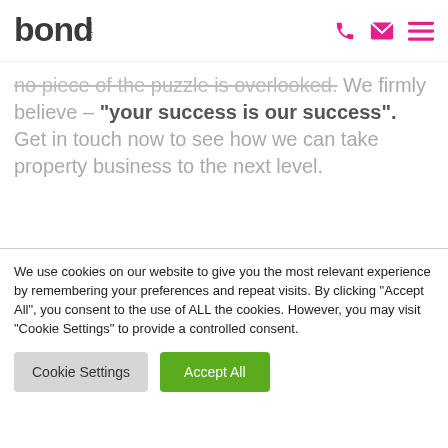[Figure (logo): Bond Media logo — stylized lowercase 'bond' in dark grey with 'media' text in small caps on the right side]
no piece of the puzzle is overlooked. We firmly believe – "your success is our success". Get in touch now to see how we can take property business to the next level.
We use cookies on our website to give you the most relevant experience by remembering your preferences and repeat visits. By clicking "Accept All", you consent to the use of ALL the cookies. However, you may visit "Cookie Settings" to provide a controlled consent.